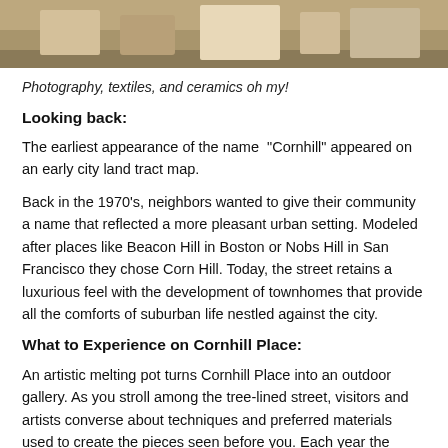[Figure (photo): Partial photo strip at top of page showing people and craft items at what appears to be an outdoor art festival or market.]
Photography, textiles, and ceramics oh my!
Looking back:
The earliest appearance of the name “Cornhill” appeared on an early city land tract map.
Back in the 1970’s, neighbors wanted to give their community a name that reflected a more pleasant urban setting. Modeled after places like Beacon Hill in Boston or Nobs Hill in San Francisco they chose Corn Hill. Today, the street retains a luxurious feel with the development of townhomes that provide all the comforts of suburban life nestled against the city.
What to Experience on Cornhill Place:
An artistic melting pot turns Cornhill Place into an outdoor gallery. As you stroll among the tree-lined street, visitors and artists converse about techniques and preferred materials used to create the pieces seen before you. Each year the festival recognizes the dedicated